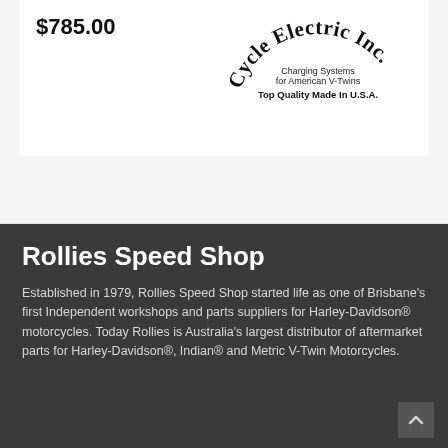$785.00
[Figure (logo): Cycle Electric Inc. logo — arched text reading 'Cycle Electric Inc.' with taglines 'Charging Systems for American V-Twins' and 'Top Quality Made In U.S.A.']
Rollies Speed Shop
Established in 1979, Rollies Speed Shop started life as one of Brisbane's first Independent workshops and parts suppliers for Harley-Davidson® motorcycles. Today Rollies is Australia's largest distributor of aftermarket parts for Harley-Davidson®, Indian® and Metric V-Twin Motorcycles.